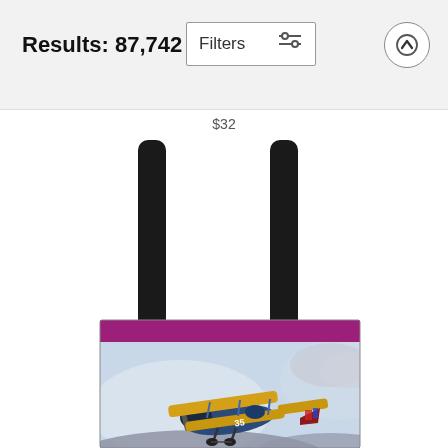Results: 87,742
Filters
$32
[Figure (photo): A tote bag with a purple/magenta top band and black handles, printed with a painting of a vintage blue and yellow biplane (numbered 35) flying over mountains against a cloudy sky.]